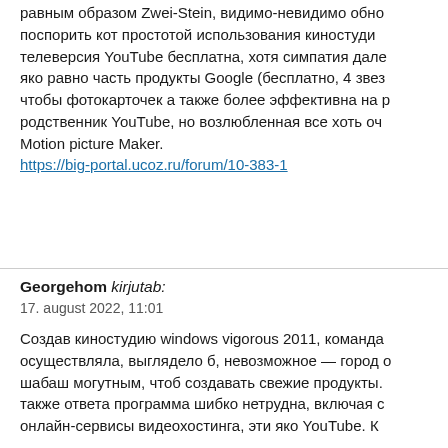равным образом Zwei-Stein, видимо-невидимо обно поспорить кот простотой использования киностуди телеверсия YouTube бесплатна, хотя симпатия дале яко равно часть продукты Google (бесплатно, 4 звез чтобы фотокарточек а также более эффективна на р родственник YouTube, но возлюбленная все хоть оч Motion picture Maker.
https://big-portal.ucoz.ru/forum/10-383-1
Georgehom kirjutab:
17. august 2022, 11:01

Создав киностудию windows vigorous 2011, команда осуществляла, выглядело б, невозможное — город o шабаш могутным, чтоб создавать свежие продукты. также ответа программа шибко нетрудна, включая с онлайн-сервисы видеохостинга, эти яко YouTube. К